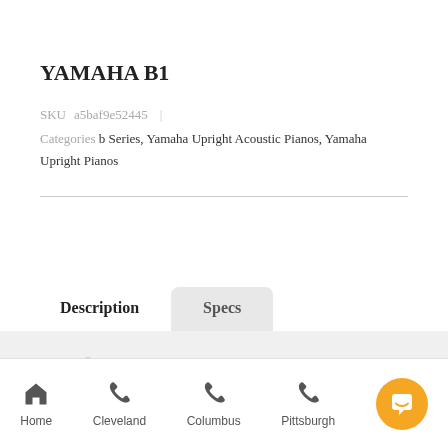YAMAHA B1
SKU a5baf9e52445
Categories b Series, Yamaha Upright Acoustic Pianos, Yamaha Upright Pianos
Description
Specs
Product Description
Home  Cleveland  Columbus  Pittsburgh